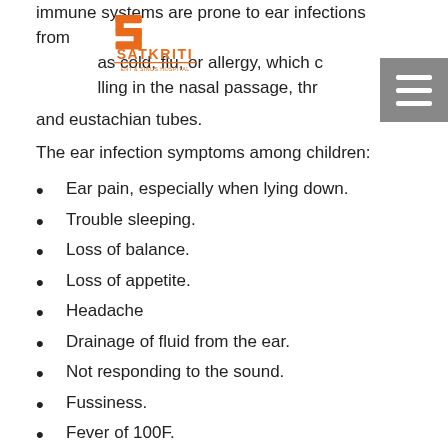immune systems are prone to ear infections from as cold, flu, or allergy, which c lling in the nasal passage, thr and eustachian tubes.
[Figure (logo): Satkriti ENT & Sinus Hospital logo with orange S-shaped icon and orange text SATKRITI]
The ear infection symptoms among children:
Ear pain, especially when lying down.
Trouble sleeping.
Loss of balance.
Loss of appetite.
Headache
Drainage of fluid from the ear.
Not responding to the sound.
Fussiness.
Fever of 100F.
Continuously crying.